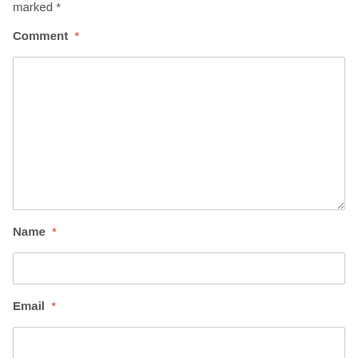marked *
Comment *
[Figure (other): Large textarea input box for comment]
Name *
[Figure (other): Single-line text input box for name]
Email *
[Figure (other): Single-line text input box for email]